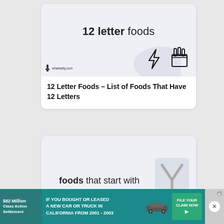[Figure (screenshot): Card showing '12 letter foods' text with lightning bolt and french fries icons on a light blue-grey background, with whateatly.com watermark]
12 Letter Foods – List of Foods That Have 12 Letters
[Figure (screenshot): Card showing 'foods that start with' text with a large Y letter icon on a light blue-grey background]
[Figure (infographic): Advertisement banner: $82 Million Class Action Settlement | IF YOU BOUGHT OR LEASED A NEW CAR OR TRUCK IN CALIFORNIA FROM 2001 - 2003 | FILE YOUR CLAIM NOW]